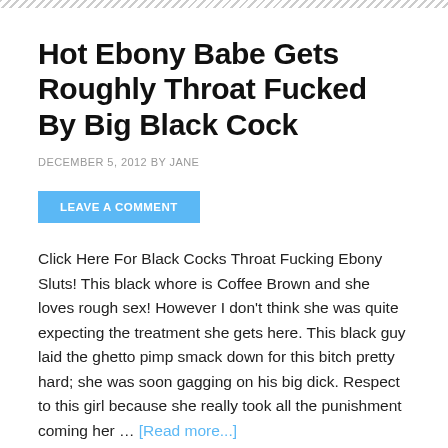Hot Ebony Babe Gets Roughly Throat Fucked By Big Black Cock
DECEMBER 5, 2012 BY JANE
LEAVE A COMMENT
Click Here For Black Cocks Throat Fucking Ebony Sluts! This black whore is Coffee Brown and she loves rough sex! However I don't think she was quite expecting the treatment she gets here. This black guy laid the ghetto pimp smack down for this bitch pretty hard; she was soon gagging on his big dick. Respect to this girl because she really took all the punishment coming her … [Read more...]